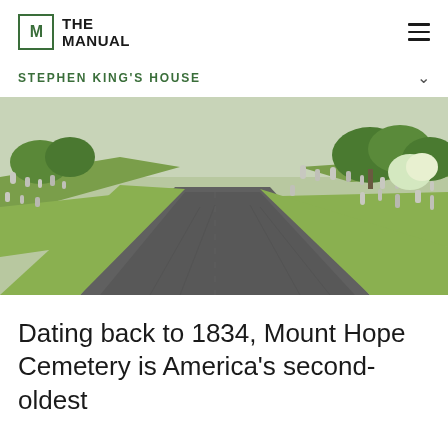THE MANUAL
STEPHEN KING'S HOUSE
[Figure (photo): A winding paved road through Mount Hope Cemetery with grass, tombstones, and trees visible on both sides.]
Dating back to 1834, Mount Hope Cemetery is America's second-oldest